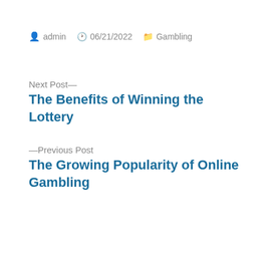admin  06/21/2022  Gambling
Next Post—
The Benefits of Winning the Lottery
—Previous Post
The Growing Popularity of Online Gambling